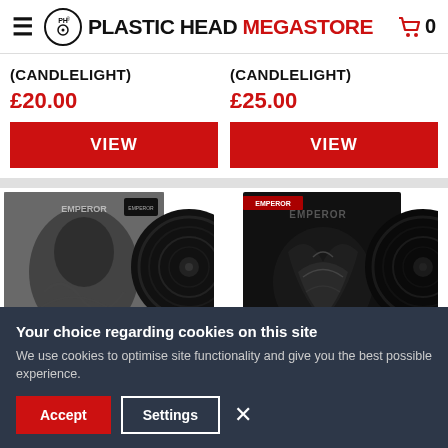≡ PLASTIC HEAD MEGASTORE 🛒 0
(CANDLELIGHT)
£20.00
VIEW
(CANDLELIGHT)
£25.00
VIEW
[Figure (photo): Album cover art - black and white metal album with dark creature/figure artwork and vinyl record partially visible]
[Figure (photo): Album cover art - dark metal album with figure and red text logo and vinyl record partially visible]
Your choice regarding cookies on this site
We use cookies to optimise site functionality and give you the best possible experience.
Accept  Settings  ×